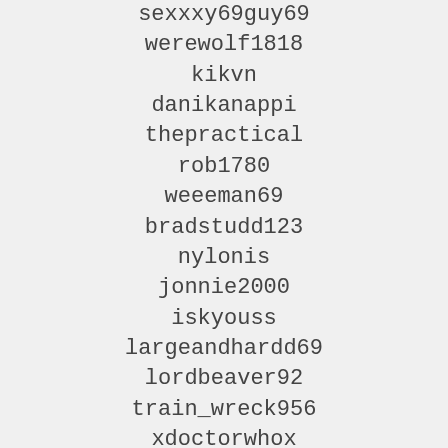sexxxy69guy69
werewolf1818
kikvn
danikanappi
thepractical
rob1780
weeeman69
bradstudd123
nylonis
jonnie2000
iskyouss
largeandhardd69
lordbeaver92
train_wreck956
xdoctorwhox
joeynova
robertoxxxx10
bisous00789655
epicboy1304
vigring
alpinefish
purfictisolation
antonionfl
djtwin83
ooo05_msng